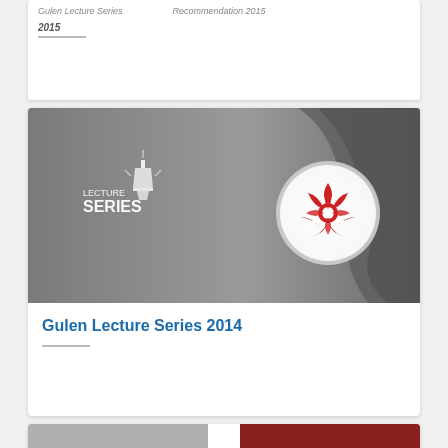Gulen Lecture Series — Niagara Foundation — Recommendation 2015
[Figure (photo): Partially visible top card showing title and underline rule for a previous Gulen Lecture Series entry]
[Figure (photo): Grayscale banner image for Gulen Lecture Series 2014 showing 'LECTURE SERIES' text with lantern icon on left and a circular red logo on the right against a sculptural background]
Gulen Lecture Series 2014
[Figure (photo): Partially visible bottom card showing two image panels — grey on the left and red/dark on the right]